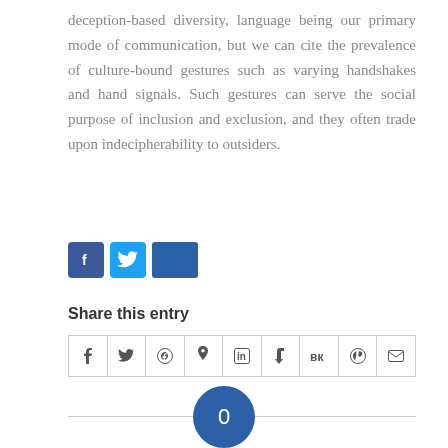deception-based diversity, language being our primary mode of communication, but we can cite the prevalence of culture-bound gestures such as varying handshakes and hand signals. Such gestures can serve the social purpose of inclusion and exclusion, and they often trade upon indecipherability to outsiders.
[Figure (infographic): Three social media share buttons: Facebook (blue f icon), Twitter (light blue bird icon), LinkedIn (dark blue square)]
Share this entry
[Figure (infographic): Row of social media sharing icons in a bordered table: Facebook, Twitter, WhatsApp, Pinterest, LinkedIn, Tumblr, VK, Reddit, Email]
[Figure (infographic): Dark blue circle with the number 0 inside, centered on a horizontal divider line]